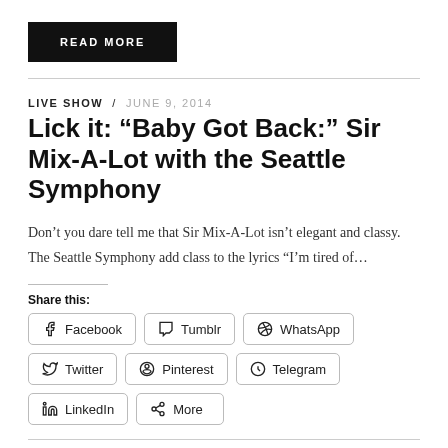READ MORE
LIVE SHOW / JUNE 9, 2014
Lick it: “Baby Got Back:” Sir Mix-A-Lot with the Seattle Symphony
Don’t you dare tell me that Sir Mix-A-Lot isn’t elegant and classy. The Seattle Symphony add class to the lyrics “I’m tired of…
Share this:
Facebook
Tumblr
WhatsApp
Twitter
Pinterest
Telegram
LinkedIn
More